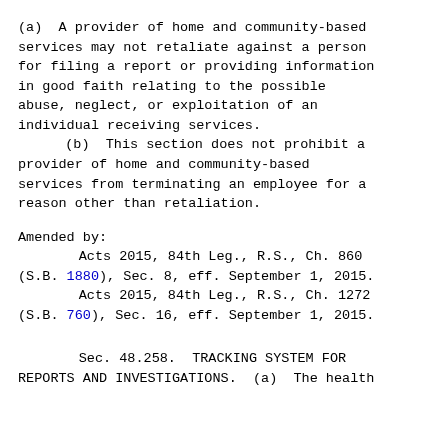(a)  A provider of home and community-based services may not retaliate against a person for filing a report or providing information in good faith relating to the possible abuse, neglect, or exploitation of an individual receiving services.
     (b)  This section does not prohibit a provider of home and community-based services from terminating an employee for a reason other than retaliation.
Amended by:
        Acts 2015, 84th Leg., R.S., Ch. 860 (S.B. 1880), Sec. 8, eff. September 1, 2015.
        Acts 2015, 84th Leg., R.S., Ch. 1272 (S.B. 760), Sec. 16, eff. September 1, 2015.
Sec. 48.258.  TRACKING SYSTEM FOR REPORTS AND INVESTIGATIONS.  (a)  The health